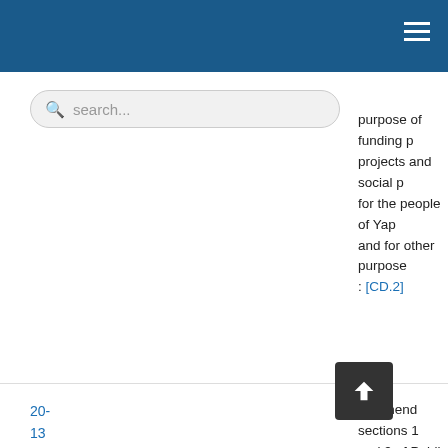purpose of funding p... projects and social p... for the people of Yap... and for other purpos... : [CD.2]
20-13
To amend sections 1... and 9 of Public Law 1... 118, as amended by Laws Nos. 19-125, 1... 19-135, 19-146 and 1... in order to appropriat... $676,015 of additiona... from the General Fun... Federated States of Micronesia for the Fis... Year ending ptemb... 2017, to c... the ... certain funds, and fo...